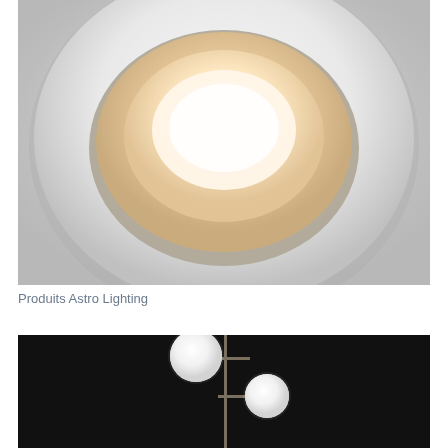[Figure (photo): Close-up photo of a white circular recessed ceiling light fixture with a warm glowing center, set into a light grey ceiling. The fixture has a wide flat white rim with a concave center revealing an illuminated warm-white lens.]
Produits Astro Lighting
[Figure (photo): Photo of a floor lamp with a dark metal pole and two white spherical glass globe shades on horizontal arms, photographed against a black background. The globes are glowing white.]